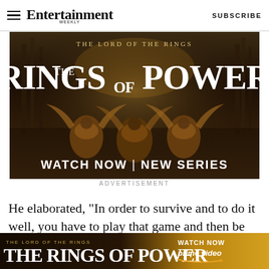Entertainment Weekly — SUBSCRIBE
[Figure (illustration): The Lord of the Rings: The Rings of Power Amazon Prime advertisement with fantasy warriors kneeling in a grand hall. Text reads: THE LORD OF THE RINGS / THE RINGS OF POWER / WATCH NOW | NEW SERIES]
ADVERTISEMENT
He elaborated, "In order to survive and to do it well, you have to play that game and then be crafty about when you want to surprise the audience...
[Figure (illustration): The Lord of the Rings: The Rings of Power bottom banner ad with Prime Video branding. WATCH NOW | prime video]